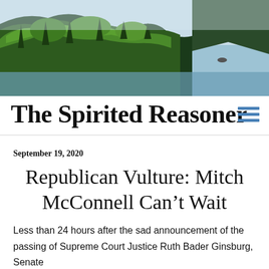[Figure (photo): Coastal landscape photograph showing a forested cliff with tall evergreen trees on a hillside overlooking a blue ocean/bay under a light blue sky]
The Spirited Reasoner
September 19, 2020
Republican Vulture: Mitch McConnell Can't Wait
Less than 24 hours after the sad announcement of the passing of Supreme Court Justice Ruth Bader Ginsburg, Senate